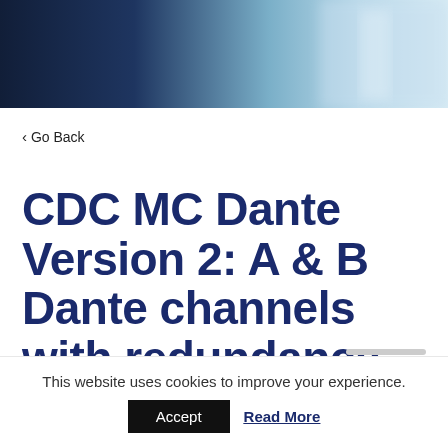[Figure (photo): Blurred hero image with dark navy blue on left fading to light blue-white on right, appears to show a person or device in background]
‹ Go Back
CDC MC Dante Version 2: A & B Dante channels with redundancy
This website uses cookies to improve your experience.
Accept
Read More